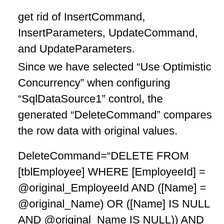get rid of InsertCommand, InsertParameters, UpdateCommand, and UpdateParameters.
Since we have selected “Use Optimistic Concurrency” when configuring “SqlDataSource1” control, the generated “DeleteCommand” compares the row data with original values.
DeleteCommand=“DELETE FROM [tblEmployee] WHERE [EmployeeId] = @original_EmployeeId AND ([Name] = @original_Name) OR ([Name] IS NULL AND @original_Name IS NULL)) AND (([Gender] = @original_Gender) OR ([Gender] IS NULL